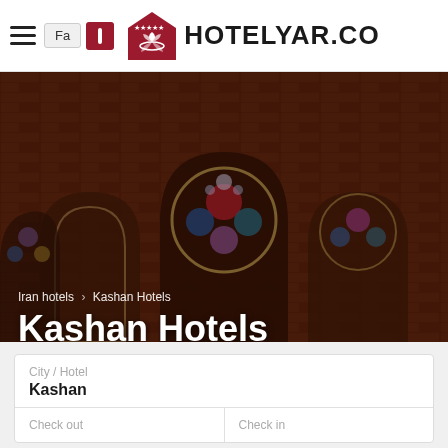Fa | [icon] HOTELYAR.CO
[Figure (screenshot): Hero banner showing ornate Iranian mosque interior with colorful stained glass arched windows and decorative tilework in red, blue, green, and gold tones, with a dark overlay]
Iran hotels › Kashan Hotels
Kashan Hotels
City / Hotel
Kashan
Check out
Check in